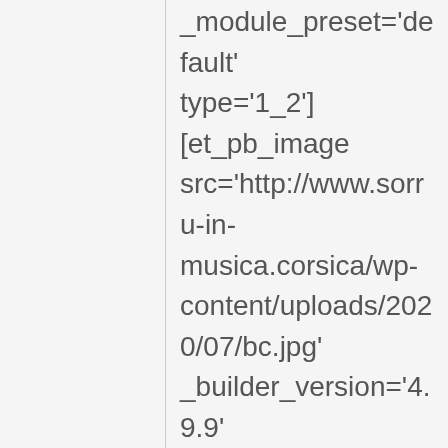_module_preset='default' type='1_2'][et_pb_image src='http://www.sorru-in-musica.corsica/wp-content/uploads/2020/07/bc.jpg' _builder_version='4.9.9' _module_preset='default' title_text='bc' hover_enabled='0' sticky_enabled='0'][/et_pb_image][/et_pb_column][et_pb_column _builder_version='4.9.9' _module_preset='default' type='1_2'][et_pb_text _builder_version='4.9.9' _module_preset='default' hover_enabled='0' sticky_enabled='0']16h Séance de connexion et détente du corps Par